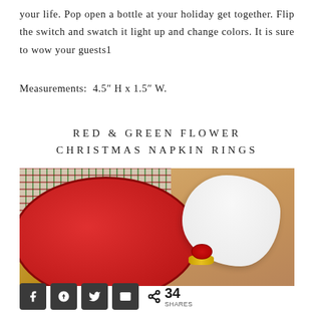your life. Pop open a bottle at your holiday get together. Flip the switch and swatch it light up and change colors. It is sure to wow your guests1
Measurements:  4.5" H x 1.5" W.
RED & GREEN FLOWER CHRISTMAS NAPKIN RINGS
[Figure (photo): A Christmas napkin ring with red poinsettia flowers on a white napkin, placed on a red plate on a plaid tablecloth with a wood table background.]
< 34 SHARES with social sharing buttons for Facebook, Pinterest, Twitter, and email